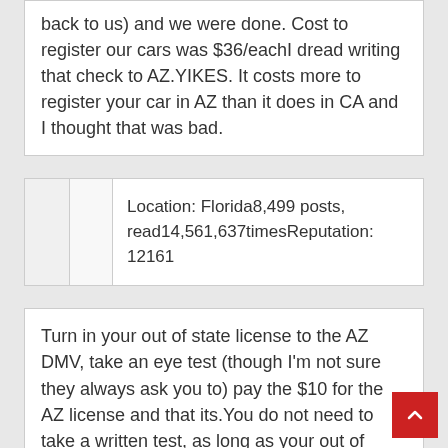back to us) and we were done. Cost to register our cars was $36/eachI dread writing that check to AZ.YIKES. It costs more to register your car in AZ than it does in CA and I thought that was bad.
|  |  | Info |
| --- | --- | --- |
|  |  | Location: Florida8,499 posts, read14,561,637timesReputation: 12161 |
Turn in your out of state license to the AZ DMV, take an eye test (though I'm not sure they always ask you to) pay the $10 for the AZ license and that its.You do not need to take a written test, as long as your out of state license has not